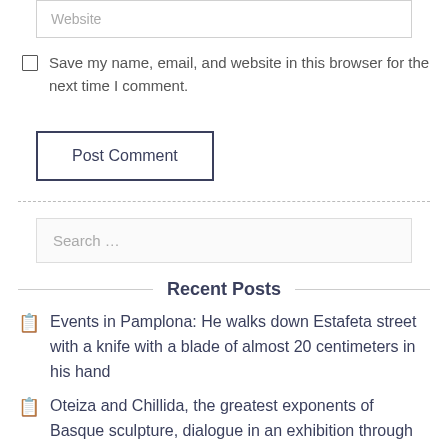Website
Save my name, email, and website in this browser for the next time I comment.
Post Comment
Search …
Recent Posts
Events in Pamplona: He walks down Estafeta street with a knife with a blade of almost 20 centimeters in his hand
Oteiza and Chillida, the greatest exponents of Basque sculpture, dialogue in an exhibition through their works at